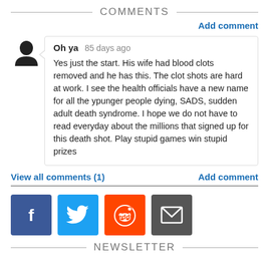COMMENTS
Add comment
Oh ya 85 days ago
Yes just the start. His wife had blood clots removed and he has this. The clot shots are hard at work. I see the health officials have a new name for all the ypunger people dying, SADS, sudden adult death syndrome. I hope we do not have to read everyday about the millions that signed up for this death shot. Play stupid games win stupid prizes
View all comments (1)
Add comment
[Figure (infographic): Social sharing buttons: Facebook (blue), Twitter (light blue), Reddit (orange), Email (dark grey)]
NEWSLETTER